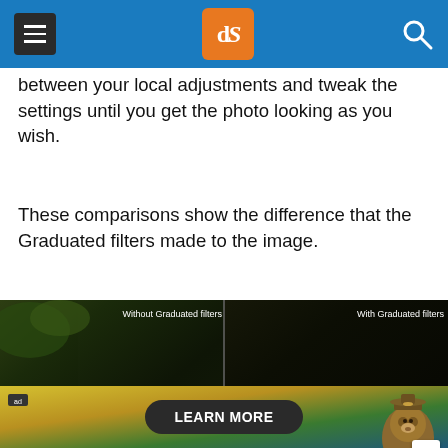dPS header with hamburger menu, logo, and search icon
between your local adjustments and tweak the settings until you get the photo looking as you wish.
These comparisons show the difference that the Graduated filters made to the image.
[Figure (photo): Side-by-side comparison of a forest/tree image. Left side labeled 'Without Graduated filters', right side labeled 'With Graduated filters'. Both show a dark tree texture; the right side appears darker/more contrast applied.]
[Figure (photo): Advertisement banner showing a 'LEARN MORE' button with a Smokey Bear character on the right side.]